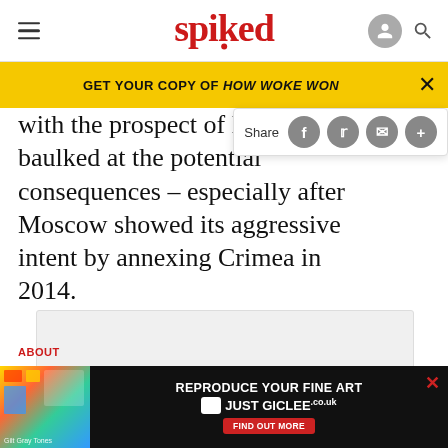spiked
GET YOUR COPY OF HOW WOKE WON
with the prospect of NATO me baulked at the potential consequences – especially after Moscow showed its aggressive intent by annexing Crimea in 2014.
[Figure (other): Grey advertisement placeholder rectangle]
The irony is grim. The more NATO has expanded and th
[Figure (other): Bottom advertisement banner: REPRODUCE YOUR FINE ART JUST GICLEE.co.uk FIND OUT MORE]